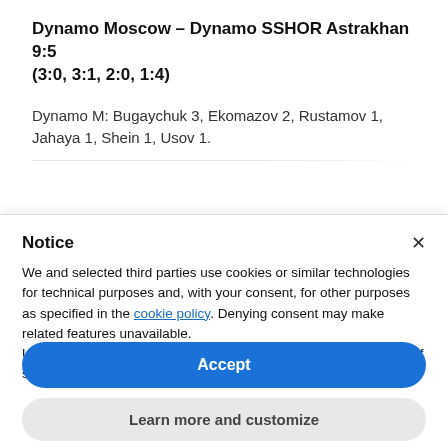Dynamo Moscow – Dynamo SSHOR Astrakhan 9:5 (3:0, 3:1, 2:0, 1:4)
Dynamo M: Bugaychuk 3, Ekomazov 2, Rustamov 1, Jahaya 1, Shein 1, Usov 1.
Notice
We and selected third parties use cookies or similar technologies for technical purposes and, with your consent, for other purposes as specified in the cookie policy. Denying consent may make related features unavailable.
Use the "Accept" button or close this notice to consent to the use of such technologies.
Accept
Learn more and customize